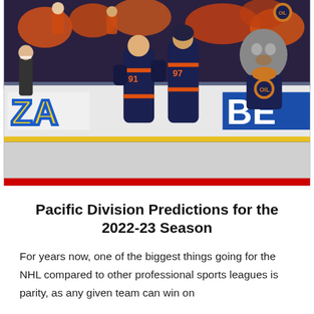[Figure (photo): Two Edmonton Oilers hockey players in dark navy jerseys with orange accents, numbers 91 and 97, celebrating near the boards. The team mascot (wolf in Oilers jersey) is visible in the background along with orange-clad fans. A referee is visible on the left. Rink boards show partial pizza and beverage advertisements.]
Pacific Division Predictions for the 2022-23 Season
For years now, one of the biggest things going for the NHL compared to other professional sports leagues is parity, as any given team can win on